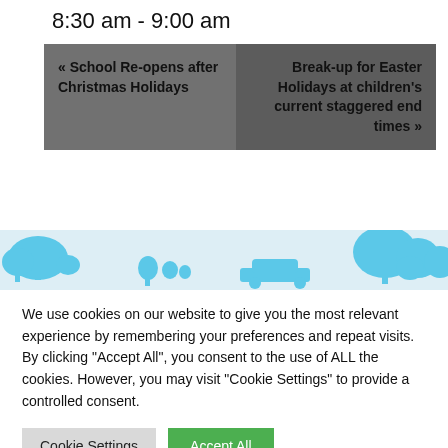8:30 am - 9:00 am
« School Re-opens after Christmas Holidays
Break-up for Easter Holidays at children's current staggered end times »
[Figure (illustration): Silhouette skyline illustration with blue trees, buildings and a car on a light blue/grey background]
We use cookies on our website to give you the most relevant experience by remembering your preferences and repeat visits. By clicking "Accept All", you consent to the use of ALL the cookies. However, you may visit "Cookie Settings" to provide a controlled consent.
Cookie Settings
Accept All